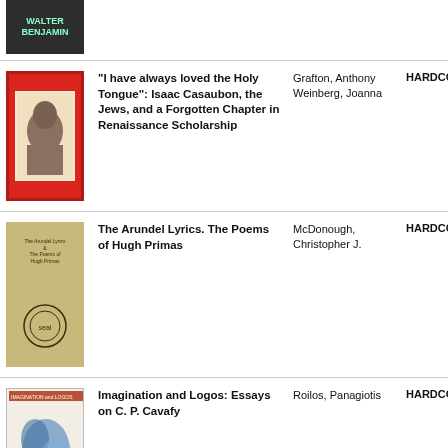[Figure (photo): Book cover: Walter Benjamin, dark background with green text]
[Figure (photo): Book cover: 'I have always loved the Holy Tongue': Isaac Casaubon, the Jews, and a Forgotten Chapter in Renaissance Scholarship - red cover with portrait]
“I have always loved the Holy Tongue”: Isaac Casaubon, the Jews, and a Forgotten Chapter in Renaissance Scholarship
Grafton, Anthony Weinberg, Joanna
HARDCOVER
[Figure (photo): Book cover: The Arundel Lyrics. The Poems of Hugh Primas - tan/beige cover with circular seal]
The Arundel Lyrics. The Poems of Hugh Primas
McDonough, Christopher J.
HARDCOVER
[Figure (photo): Book cover: Imagination and Logos: Essays on C. P. Cavafy - white cover with blue artistic figure]
Imagination and Logos: Essays on C. P. Cavafy
Roilos, Panagiotis
HARDCOVER
[Figure (photo): Book cover: Hyperboles: The - teal cover, partially visible]
Hyperboles: The
Johnson,
HARDCOVER